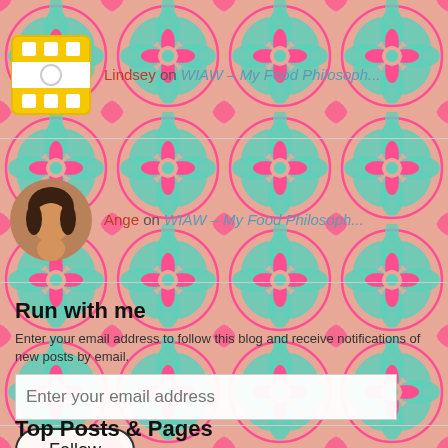[Figure (illustration): Decorative floral/mandala tile pattern background in pink, coral, and teal/mint colors repeating across the full page]
Lindsey on WIAW – My Food Philosoph...
Ange on WIAW – My Food Philosoph...
Run with me
Enter your email address to follow this blog and receive notifications of new posts by email.
Enter your email address
Follow
Join 4 other followers
Top Posts & Pages